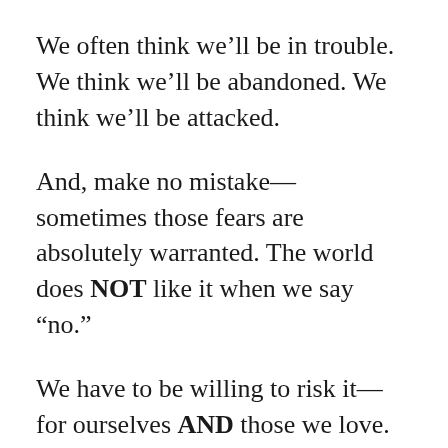We often think we’ll be in trouble. We think we’ll be abandoned. We think we’ll be attacked.
And, make no mistake— sometimes those fears are absolutely warranted. The world does NOT like it when we say “no.”
We have to be willing to risk it— for ourselves AND those we love.
For our self-esteem, for our goals and dreams, for our stability, for our sanity.